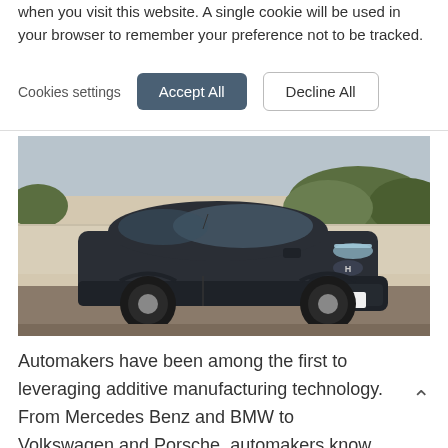when you visit this website. A single cookie will be used in your browser to remember your preference not to be tracked.
Cookies settings   Accept All   Decline All
[Figure (photo): A dark grey Hyundai Kona Electric SUV driving on a road with hedges and a wall in the background. The license plate reads FD-N6229E.]
Automakers have been among the first to leveraging additive manufacturing technology. From Mercedes Benz and BMW to Volkswagen and Porsche, automakers know from the start that